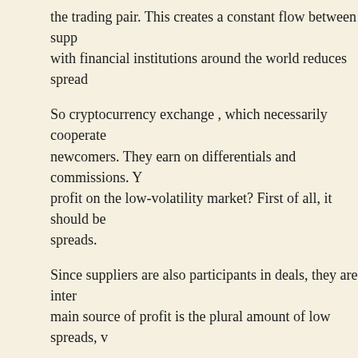the trading pair. This creates a constant flow between supp with financial institutions around the world reduces spread
So cryptocurrency exchange , which necessarily cooperate newcomers. They earn on differentials and commissions. Y profit on the low-volatility market? First of all, it should be spreads.
Since suppliers are also participants in deals, they are inter main source of profit is the plural amount of low spreads, v
They also receive considerable profit from commission fee services. The forums have been said that a service that offe
With the current pace of the market, much more tools are spreads, but is also able to perform all tasks with minimal c service. Conclusion: the search for liquidity providers for c and their activity in the market. Otherwise, they have no s services of their customers.
Detailed study. The above is just the foundation. To choose lot more factors. Efficiency analysis is a time consuming pr honesty is in question? Therefore, it is worth starting with